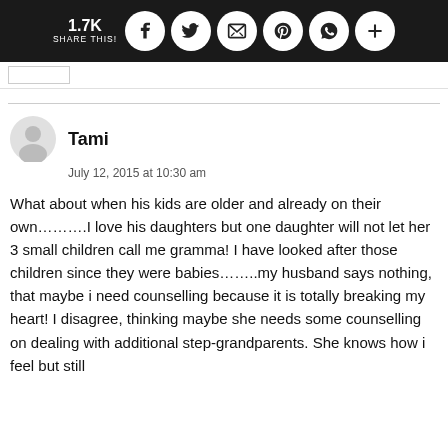1.7K SHARE THIS!
Tami
July 12, 2015 at 10:30 am
What about when his kids are older and already on their own..........I love his daughters but one daughter will not let her 3 small children call me gramma! I have looked after those children since they were babies........my husband says nothing, that maybe i need counselling because it is totally breaking my heart! I disagree, thinking maybe she needs some counselling on dealing with additional step-grandparents. She knows how i feel but still